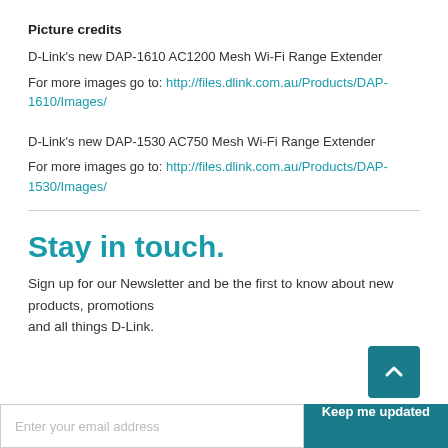Picture credits
D-Link's new DAP-1610 AC1200 Mesh Wi-Fi Range Extender
For more images go to: http://files.dlink.com.au/Products/DAP-1610/Images/
D-Link's new DAP-1530 AC750 Mesh Wi-Fi Range Extender
For more images go to: http://files.dlink.com.au/Products/DAP-1530/Images/
Stay in touch.
Sign up for our Newsletter and be the first to know about new products, promotions and all things D-Link.